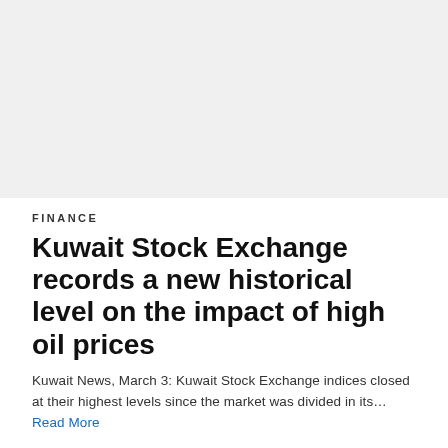[Figure (photo): Light grey placeholder image area at the top of the page]
FINANCE
Kuwait Stock Exchange records a new historical level on the impact of high oil prices
Kuwait News, March 3: Kuwait Stock Exchange indices closed at their highest levels since the market was divided in its… Read More